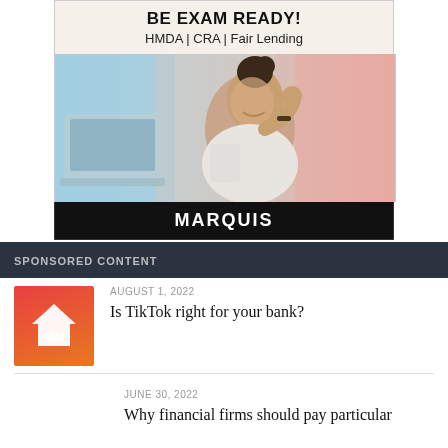[Figure (illustration): Marquis advertisement banner: 'BE EXAM READY! HMDA | CRA | Fair Lending' with a photo of a smiling woman at a laptop and the Marquis brand logo on a black footer bar]
SPONSORED CONTENT
AUGUST 1, 2022
Is TikTok right for your bank?
JUNE 30, 2022
Why financial firms should pay particular